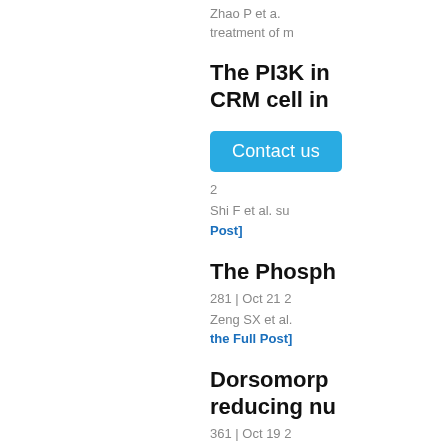Zhao P et a. treatment of m
The PI3K in CRM cell in
Contact us
2
Shi F et al. su
Post]
The Phosph
281 | Oct 21 2
Zeng SX et al.
the Full Post]
Dorsomorp reducing nu
361 | Oct 19 2
Li N et al. indi proteasome in